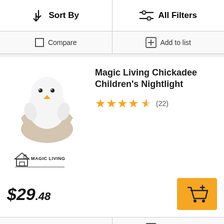Sort By
All Filters
Compare
Add to list
Magic Living Chickadee Children's Nightlight
[Figure (illustration): White chick hatching from a beige eggshell nightlight product photo]
★★★★½ (22)
[Figure (logo): Magic Living brand logo with house icon]
$29.48
Compare
Add to list